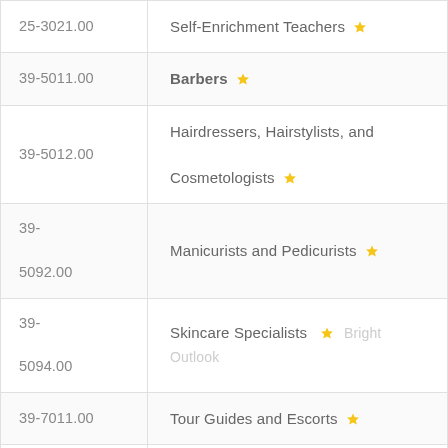| Code | Occupation |
| --- | --- |
| 25-3021.00 | Self-Enrichment Teachers ★ |
| 39-5011.00 | Barbers ★ |
| 39-5012.00 | Hairdressers, Hairstylists, and Cosmetologists ★ |
| 39-5092.00 | Manicurists and Pedicurists ★ |
| 39-5094.00 | Skincare Specialists ★ Bright Outlook |
| 39-7011.00 | Tour Guides and Escorts ★ |
| 39-9031.00 | Exercise Trainers and Group Fitness Instructors ★ |